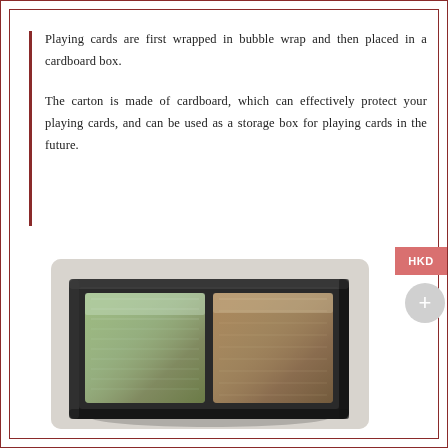Playing cards are first wrapped in bubble wrap and then placed in a cardboard box.
The carton is made of cardboard, which can effectively protect your playing cards, and can be used as a storage box for playing cards in the future.
[Figure (photo): A black cardboard box containing two decks of playing cards wrapped in bubble wrap, viewed from above at a slight angle.]